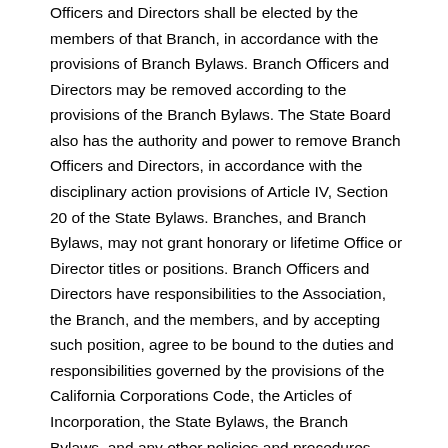Officers and Directors shall be elected by the members of that Branch, in accordance with the provisions of Branch Bylaws. Branch Officers and Directors may be removed according to the provisions of the Branch Bylaws. The State Board also has the authority and power to remove Branch Officers and Directors, in accordance with the disciplinary action provisions of Article IV, Section 20 of the State Bylaws. Branches, and Branch Bylaws, may not grant honorary or lifetime Office or Director titles or positions. Branch Officers and Directors have responsibilities to the Association, the Branch, and the members, and by accepting such position, agree to be bound to the duties and responsibilities governed by the provisions of the California Corporations Code, the Articles of Incorporation, the State Bylaws, the Branch Bylaws, and any other policies and procedures established by the State and Branch